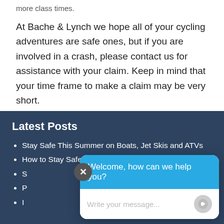more class times.
At Bache & Lynch we hope all of your cycling adventures are safe ones, but if you are involved in a crash, please contact us for assistance with your claim. Keep in mind that your time frame to make a claim may be very short.
Latest Posts
Stay Safe This Summer on Boats, Jet Skis and ATVs
How to Stay Safe During an Extreme Heat Wave
S... (partially obscured)
P... (partially obscured)
I... (partially obscured)
[Figure (screenshot): Chat widget overlay with blue header saying 'Welcome, how can we help you?' and a white input area with placeholder text 'Write your message...' and a send button. A close (X) button is visible at the top-left of the widget.]